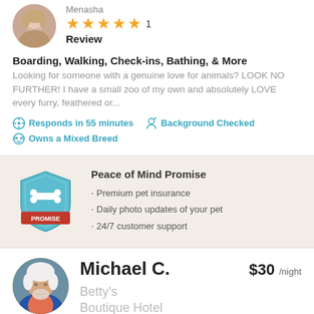[Figure (photo): Circular profile photo of a woman, partially cropped at top]
Menasha
[Figure (other): 5 yellow star rating icons followed by the number 1]
Review
Boarding, Walking, Check-ins, Bathing, & More
Looking for someone with a genuine love for animals? LOOK NO FURTHER! I have a small zoo of my own and absolutely LOVE every furry, feathered or...
Responds in 55 minutes   Background Checked   Owns a Mixed Breed
[Figure (illustration): Rover Peace of Mind Promise shield badge logo in teal and red]
Peace of Mind Promise
Premium pet insurance
Daily photo updates of your pet
24/7 customer support
[Figure (photo): Circular profile photo of Michael C., older man with white hair, wearing a blue jacket]
Michael C.   $30 /night
Betty's Boutique Hotel